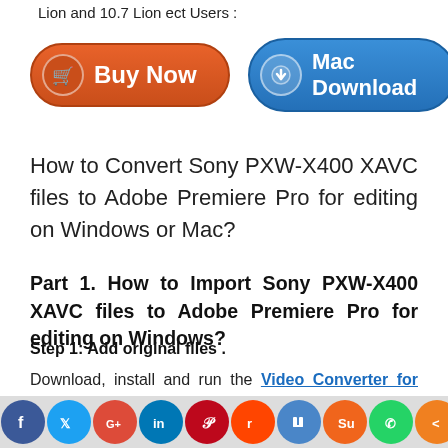Lion and 10.7 Lion ect Users :
[Figure (screenshot): Two buttons: orange 'Buy Now' button with cart icon, and blue 'Mac Download' button with download icon]
How to Convert Sony PXW-X400 XAVC files to Adobe Premiere Pro for editing on Windows or Mac?
Part 1. How to Import Sony PXW-X400 XAVC files to Adobe Premiere Pro for editing on Windows?
Step 1: Add original files .
Download, install and run the Video Converter for Windows; click "Add Videos" icon to load your source XAVC videos from Sony PXW-X400.
[Figure (infographic): Social sharing bar with icons: Facebook, Twitter, Google+, LinkedIn, Pinterest, Reddit, Digg, StumbleUpon, WhatsApp, Share]